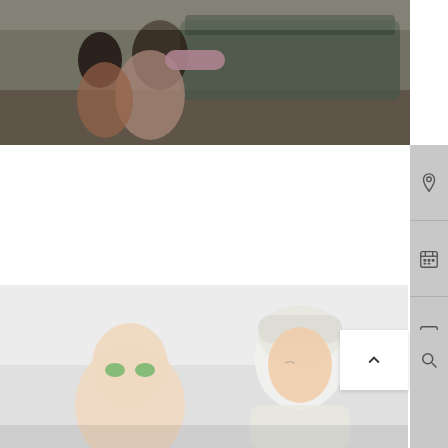[Figure (photo): Woman and child hugging and playing on the floor in front of a sofa, candid lifestyle parenting photo]
Parenting Social-emotional
Respectful parenting at home -strategies and tips from experts
APRIL 30, 2021  1 MIN READ  0
[Figure (photo): Mother and daughter in spa setting, child has cucumber slices on eyes, mother wearing a towel on her head, beauty routine together]